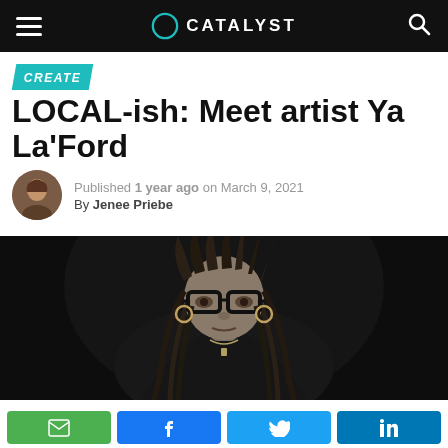CATALYST
CREATE
LOCAL-ish: Meet artist Ya La'Ford
Published 1 year ago on March 9, 2021
By Jenee Priebe
[Figure (photo): Black and white portrait photograph of Ya La'Ford, a woman with long braided hair, thick-framed glasses, hoop earrings, and a necklace, against a dark background.]
Email | Facebook | Twitter | LinkedIn share buttons